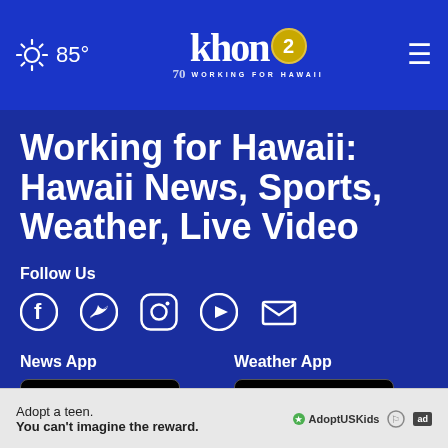85° khon2 Working for Hawaii
Working for Hawaii: Hawaii News, Sports, Weather, Live Video
Follow Us
[Figure (infographic): Social media icons: Facebook, Twitter, Instagram, YouTube, Email]
News App
[Figure (screenshot): Download on the App Store button and GET IT ON Google Play button for News App]
Weather App
[Figure (screenshot): Download on the App Store button and GET IT ON Google Play button for Weather App]
Adopt a teen. You can't imagine the reward. AdoptUSKids ad